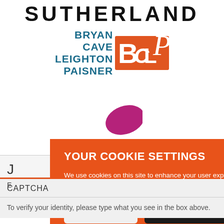[Figure (logo): Sutherland wordmark in bold black letters at top, followed by Bryan Cave Leighton Paisner (BCLP) logo in teal/blue text with orange BCLP icon graphic and purple swoosh element]
YOUR COOKIE SETTINGS
We use cookies on this site to enhance your user experience. By clicking any link on this page you are giving your consent for us to set cookies. Privacy Policy
YES, I ACCEPT
MORE INFORMATION
CAPTCHA
To verify your identity, please type what you see in the box above.